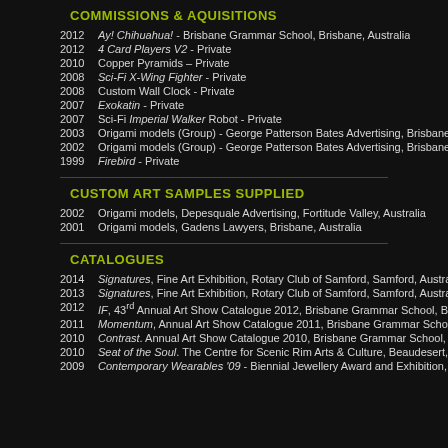COMMISSIONS & AQUISITIONS
2012   Ay! Chihuahua! - Brisbane Grammar School, Brisbane, Australia
2012   4 Card Players V2 - Private
2010   Copper Pyramids – Private
2008   Sci-Fi X-Wing Fighter - Private
2008   Custom Wall Clock - Private
2007   Exokatin - Private
2007   Sci-Fi Imperial Walker Robot - Private
2003   Origami models (Group) - George Patterson Bates Advertising, Brisbane, Austr
2002   Origami models (Group) - George Patterson Bates Advertising, Brisbane, Austr
1999   Firebird - Private
CUSTOM ART SAMPLES SUPPLIED
2002   Origami models, Depesquale Advertising, Fortitude Valley, Australia
2001   Origami models, Gadens Lawyers, Brisbane, Australia
CATALOGUES
2014   Signatures, Fine Art Exhibition, Rotary Club of Samford, Samford, Australia
2013   Signatures, Fine Art Exhibition, Rotary Club of Samford, Samford, Australia
2012   IF, 43rd Annual Art Show Catalogue 2012, Brisbane Grammar School, Brisba
2011   Momentum, Annual Art Show Catalogue 2011, Brisbane Grammar School, Bri
2010   Contrast. Annual Art Show Catalogue 2010, Brisbane Grammar School, Brisb
2010   Seat of the Soul. The Centre for Scenic Rim Arts & Culture, Beaudesert, Austr
2009   Contemporary Wearables '09 - Biennial Jewellery Award and Exhibition, Too